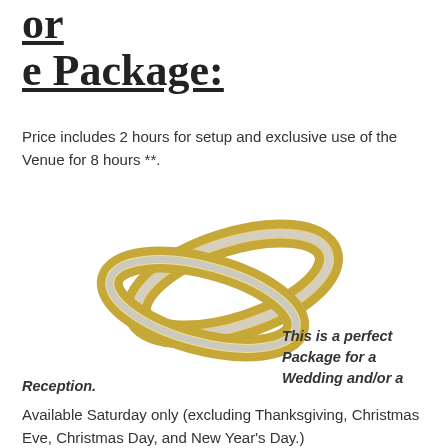or
e Package:
Price includes 2 hours for setup and exclusive use of the Venue for 8 hours **.
[Figure (photo): Two gold and silver wedding rings overlapping each other on a white background.]
This is a perfect Package for a Wedding and/or a Reception.
Available Saturday only (excluding Thanksgiving, Christmas Eve, Christmas Day, and New Year's Day.)
Price: $3,500.00.
Note: Price includes a $500.00 Booking Fee, which is required to secure your date. This payment is non-